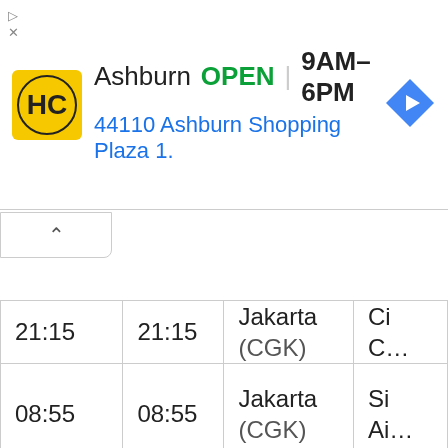[Figure (screenshot): Advertisement banner for Hairclub (HC) showing logo, Ashburn location, OPEN status, hours 9AM-6PM, address 44110 Ashburn Shopping Plaza 1., and a navigation icon. Small ad controls (triangle and X) on left side.]
| Departure | Arrival | Destination | Airline |
| --- | --- | --- | --- |
| 21:15 | 21:15 | Jakarta (CGK) | Ci C… |
| 08:55 | 08:55 | Jakarta (CGK) | Si Ai… |
| 09:20 | 09:20 | Surabaya (SUB) | Ba ID… |
| 09:40 | 09:40 | Surabaya (SUB) | Ci C… |